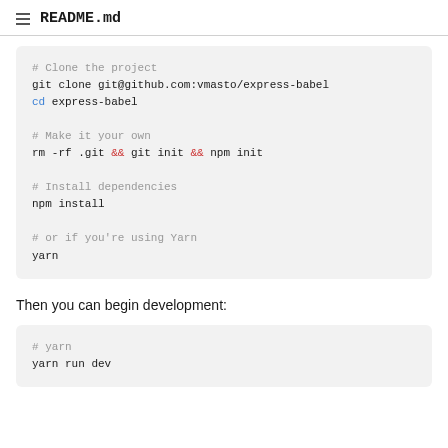README.md
# Clone the project
git clone git@github.com:vmasto/express-babel
cd express-babel

# Make it your own
rm -rf .git && git init && npm init

# Install dependencies
npm install

# or if you're using Yarn
yarn
Then you can begin development:
# yarn
yarn run dev